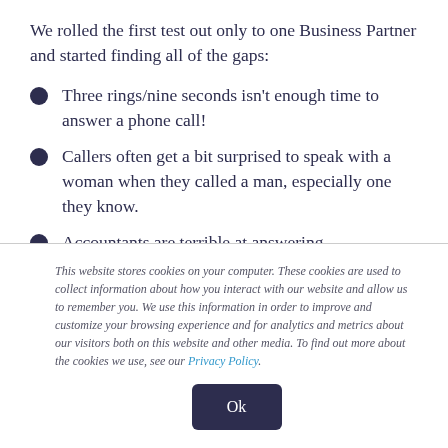We rolled the first test out only to one Business Partner and started finding all of the gaps:
Three rings/nine seconds isn't enough time to answer a phone call!
Callers often get a bit surprised to speak with a woman when they called a man, especially one they know.
Accountants are terrible at answering
This website stores cookies on your computer. These cookies are used to collect information about how you interact with our website and allow us to remember you. We use this information in order to improve and customize your browsing experience and for analytics and metrics about our visitors both on this website and other media. To find out more about the cookies we use, see our Privacy Policy.
Ok